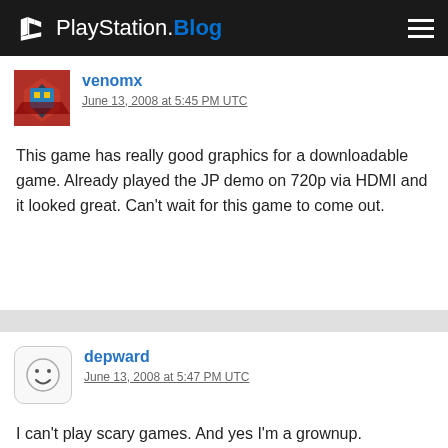PlayStation.Blog
venomx
June 13, 2008 at 5:45 PM UTC
This game has really good graphics for a downloadable game. Already played the JP demo on 720p via HDMI and it looked great. Can't wait for this game to come out.
depward
June 13, 2008 at 5:47 PM UTC
I can't play scary games. And yes I'm a grownup.